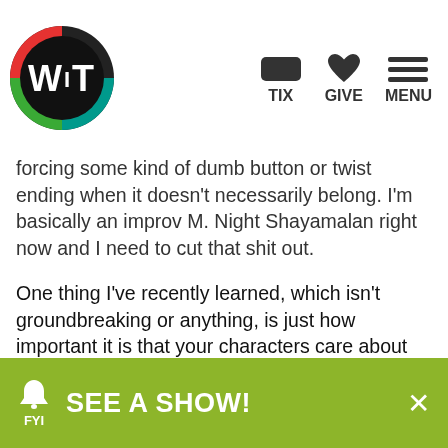WIT logo and navigation: TIX, GIVE, MENU
forcing some kind of dumb button or twist ending when it doesn't necessarily belong. I'm basically an improv M. Night Shayamalan right now and I need to cut that shit out.
One thing I've recently learned, which isn't groundbreaking or anything, is just how important it is that your characters care about something in scenes. It's such a maxim of improv that it's almost a platitude, but I'd say I recently really understood its importance.
You mentioned Love Onion, a WIT ensemble you're a part of. You also perform as part of the WIT project Die, Die, Die. Tell us a little bit about each of those...
SEE A SHOW! FYI ×